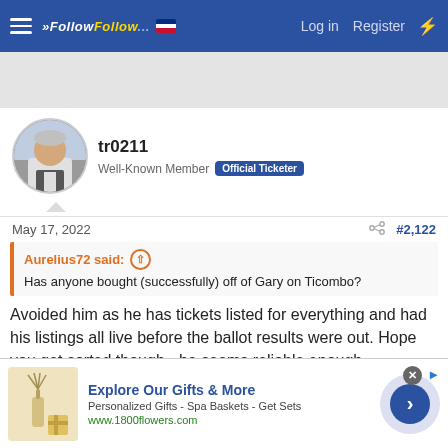FollowFollow — Log in  Register
[Figure (screenshot): Gray advertisement banner area]
tr0211
Well-Known Member  Official Ticketer
May 17, 2022  #2,122
Aurelius72 said: Has anyone bought (successfully) off of Gary on Ticombo?
Avoided him as he has tickets listed for everything and had his listings all live before the ballot results were out. Hope you get sorted though - he seems reliable enough.
[Figure (photo): Advertisement: Explore Our Gifts & More — Personalized Gifts - Spa Baskets - Get Sets — www.1800flowers.com]